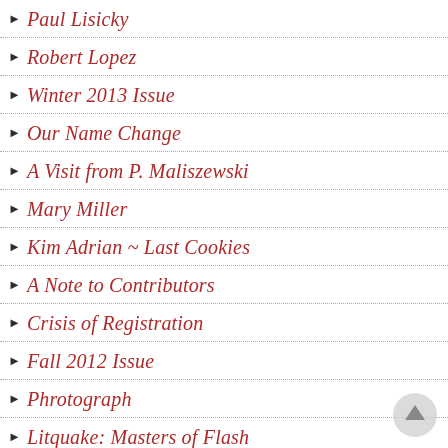Paul Lisicky
Robert Lopez
Winter 2013 Issue
Our Name Change
A Visit from P. Maliszewski
Mary Miller
Kim Adrian ~ Last Cookies
A Note to Contributors
Crisis of Registration
Fall 2012 Issue
Phrotograph
Litquake: Masters of Flash
Reading Submissions